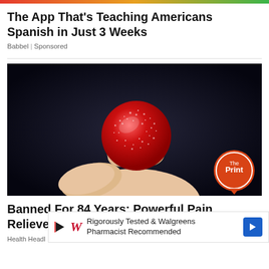The App That’s Teaching Americans Spanish in Just 3 Weeks
Babbel | Sponsored
[Figure (photo): Close-up photo of fingers holding a red sugar-coated gummy candy against a dark background. The Print logo badge is visible in the bottom-right corner.]
Banned For 84 Years; Powerful Pain Reliever Legaliz...
Health Headl...
Rigorously Tested & Walgreens Pharmacist Recommended